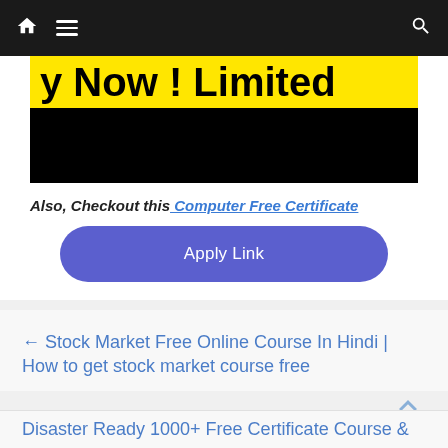Navigation bar with home, menu, and search icons
[Figure (photo): Partial banner image with yellow strip showing text 'y Now ! Limited' and black strip below]
Also, Checkout this Computer Free Certificate
Apply Link
← Stock Market Free Online Course In Hindi | How to get stock market course free
Disaster Ready 1000+ Free Certificate Course &